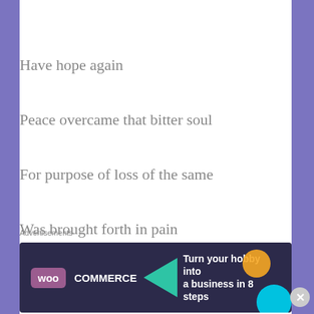Have hope again
Peace overcame that bitter soul
For purpose of loss of the same
Was brought forth in pain
You see when misery is in the air
Love heals what wasn't there
For in the dark...
Advertisements
[Figure (other): WooCommerce advertisement banner: dark navy background with teal triangle, orange and cyan circles, text 'Turn your hobby into a business in 8 steps']